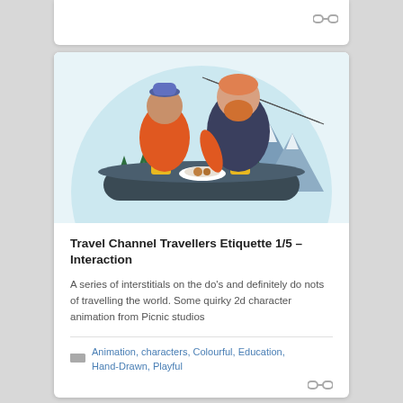[Figure (illustration): Two cartoon characters (one in orange jacket with blue hat, one with red beard in dark jacket) sitting at a dark table with beer mugs and a plate of food. Mountain and forest background with cable car gondola. Flat 2d illustration style.]
Travel Channel Travellers Etiquette 1/5 – Interaction
A series of interstitials on the do's and definitely do nots of travelling the world. Some quirky 2d character animation from Picnic studios
Animation, characters, Colourful, Education, Hand-Drawn, Playful